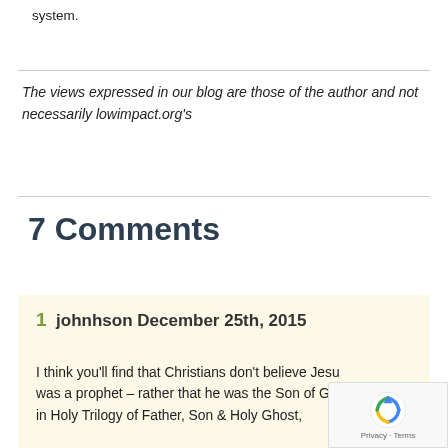system.
The views expressed in our blog are those of the author and not necessarily lowimpact.org's
7 Comments
1  johnhson December 25th, 2015
I think you'll find that Christians don't believe Jesu was a prophet – rather that he was the Son of Go in Holy Trilogy of Father, Son & Holy Ghost,